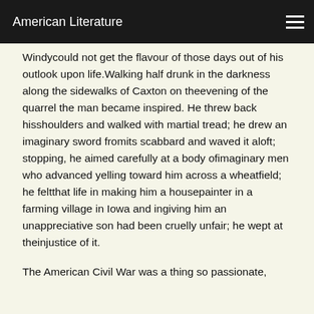American Literature
Windycould not get the flavour of those days out of his outlook upon life.Walking half drunk in the darkness along the sidewalks of Caxton on theevening of the quarrel the man became inspired. He threw back hisshoulders and walked with martial tread; he drew an imaginary sword fromits scabbard and waved it aloft; stopping, he aimed carefully at a body ofimaginary men who advanced yelling toward him across a wheatfield; he feltthat life in making him a housepainter in a farming village in Iowa and ingiving him an unappreciative son had been cruelly unfair; he wept at theinjustice of it.
The American Civil War was a thing so passionate,